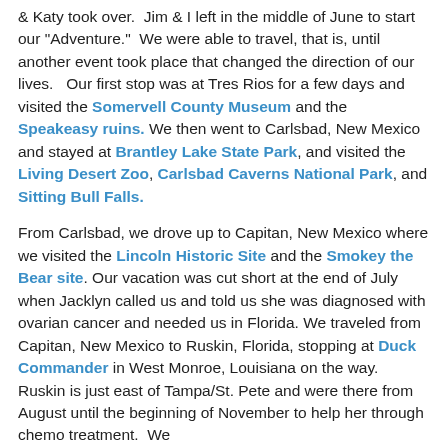& Katy took over.  Jim & I left in the middle of June to start our "Adventure."  We were able to travel, that is, until another event took place that changed the direction of our lives.   Our first stop was at Tres Rios for a few days and visited the Somervell County Museum and the Speakeasy ruins. We then went to Carlsbad, New Mexico and stayed at Brantley Lake State Park, and visited the Living Desert Zoo, Carlsbad Caverns National Park, and Sitting Bull Falls.
From Carlsbad, we drove up to Capitan, New Mexico where we visited the Lincoln Historic Site and the Smokey the Bear site. Our vacation was cut short at the end of July when Jacklyn called us and told us she was diagnosed with ovarian cancer and needed us in Florida. We traveled from Capitan, New Mexico to Ruskin, Florida, stopping at Duck Commander in West Monroe, Louisiana on the way. Ruskin is just east of Tampa/St. Pete and were there from August until the beginning of November to help her through chemo treatment.  We